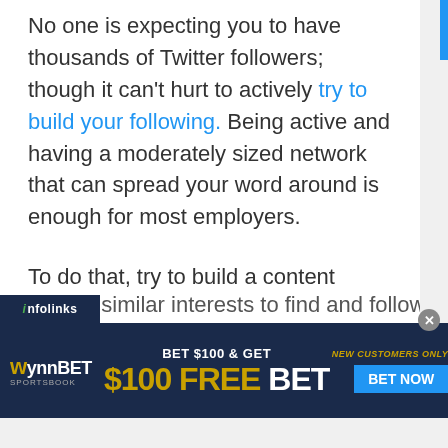No one is expecting you to have thousands of Twitter followers; though it can't hurt to actively try to build your following. Being active and having a moderately sized network that can spread your word around is enough for most employers.
To do that, try to build a content theme around your Twitter handle, and follow like-minded people and groups. They'll often follow you back and create further opportunities for still other ks with similar interests to find and follow you.
[Figure (other): WynnBET Sportsbook advertisement banner: BET $100 & GET $100 FREE BET. NEW CUSTOMERS ONLY. BET NOW button. Dark navy background with gold and white text.]